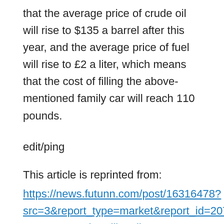that the average price of crude oil will rise to $135 a barrel after this year, and the average price of fuel will rise to £2 a liter, which means that the cost of filling the above-mentioned family car will reach 110 pounds.
edit/ping
This article is reprinted from:
https://news.futunn.com/post/16316478?src=3&report_type=market&report_id=207831&futusource=news_headline_list
This site is for inclusion only, and the copyright belongs to the original author.